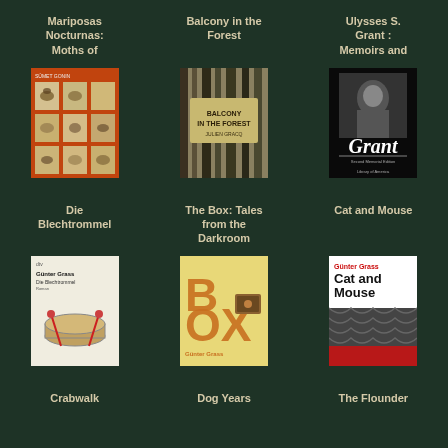Mariposas Nocturnas: Moths of
Balcony in the Forest
Ulysses S. Grant : Memoirs and
[Figure (photo): Book cover of Mariposas Nocturnas: Moths of — orange cover with grid of moth illustrations]
[Figure (photo): Book cover of Balcony in the Forest — dark forest trees with tan label overlay]
[Figure (photo): Book cover of Ulysses S. Grant: Memoirs and — black cover with portrait photo and Grant signature in white]
Die Blechtrommel
The Box: Tales from the Darkroom
Cat and Mouse
[Figure (photo): Book cover of Die Blechtrommel — white cover by dtv, Günter Grass, with drum illustration]
[Figure (photo): Book cover of The Box: Tales from the Darkroom — yellow cover with BOX in large orange letters and Günter Grass name]
[Figure (photo): Book cover of Cat and Mouse — white cover with Günter Grass in red, Cat and Mouse title, dark patterned animal image]
Crabwalk
Dog Years
The Flounder